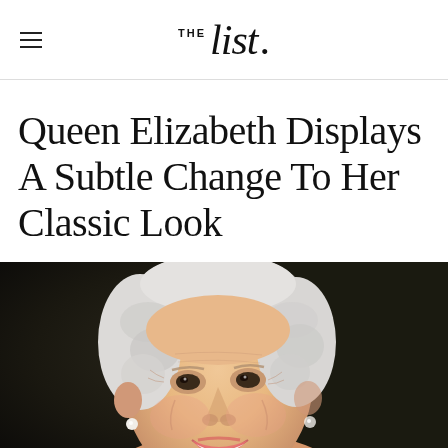THE List.
Queen Elizabeth Displays A Subtle Change To Her Classic Look
[Figure (photo): Close-up portrait photo of Queen Elizabeth II smiling, with white curly hair, pearl earrings, and a warm expression. Dark background, she appears to be wearing a colorful outfit.]